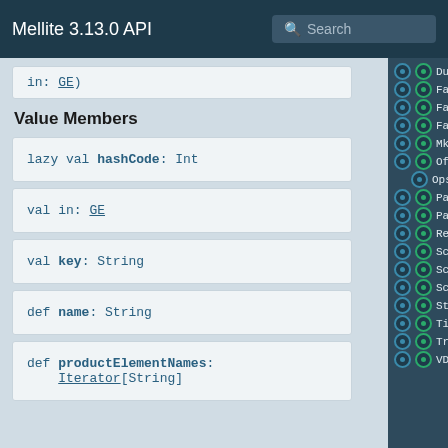Mellite 3.13.0 API
in: GE)
Value Members
lazy val hashCode: Int
val in: GE
val key: String
def name: String
def productElementNames: Iterator[String]
Duration
FadeIn
FadeInOut
FadeOut
MkValue
Offset
Ops
Param
PartConv
Reaction
ScanIn
ScanInFix
ScanOut
StopSelf
Time
TrigAttribute
VDiskIn